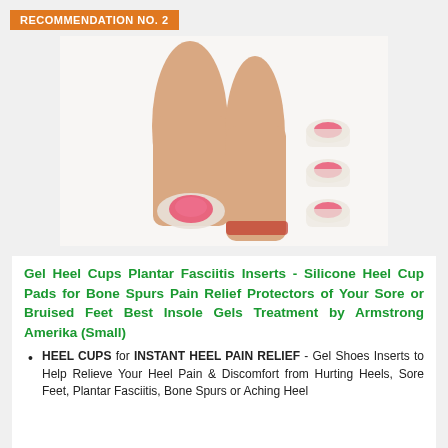RECOMMENDATION NO. 2
[Figure (photo): Photo of two bare feet/heels from behind, with silicone/gel heel cup inserts placed on the heel area. Three additional heel cup inserts shown to the right side of the feet against a white background.]
Gel Heel Cups Plantar Fasciitis Inserts - Silicone Heel Cup Pads for Bone Spurs Pain Relief Protectors of Your Sore or Bruised Feet Best Insole Gels Treatment by Armstrong Amerika (Small)
HEEL CUPS for INSTANT HEEL PAIN RELIEF - Gel Shoes Inserts to Help Relieve Your Heel Pain & Discomfort from Hurting Heels, Sore Feet, Plantar Fasciitis, Bone Spurs or Aching Heel